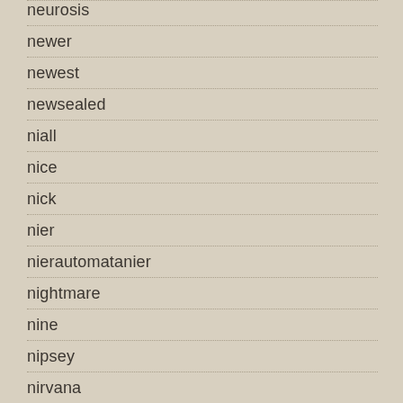neurosis
newer
newest
newsealed
niall
nice
nick
nier
nierautomatanier
nightmare
nine
nipsey
nirvana
nissei
nitro
nobsound